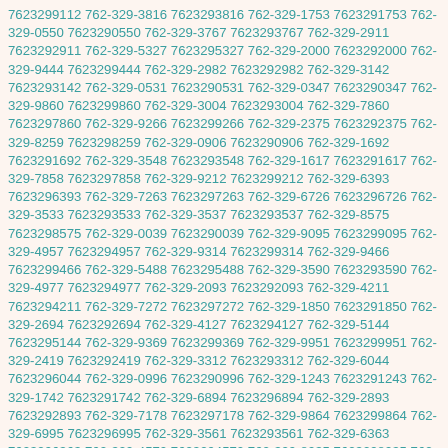7623299112 762-329-3816 7623293816 762-329-1753 7623291753 762-329-0550 7623290550 762-329-3767 7623293767 762-329-2911 7623292911 762-329-5327 7623295327 762-329-2000 7623292000 762-329-9444 7623299444 762-329-2982 7623292982 762-329-3142 7623293142 762-329-0531 7623290531 762-329-0347 7623290347 762-329-9860 7623299860 762-329-3004 7623293004 762-329-7860 7623297860 762-329-9266 7623299266 762-329-2375 7623292375 762-329-8259 7623298259 762-329-0906 7623290906 762-329-1692 7623291692 762-329-3548 7623293548 762-329-1617 7623291617 762-329-7858 7623297858 762-329-9212 7623299212 762-329-6393 7623296393 762-329-7263 7623297263 762-329-6726 7623296726 762-329-3533 7623293533 762-329-3537 7623293537 762-329-8575 7623298575 762-329-0039 7623290039 762-329-9095 7623299095 762-329-4957 7623294957 762-329-9314 7623299314 762-329-9466 7623299466 762-329-5488 7623295488 762-329-3590 7623293590 762-329-4977 7623294977 762-329-2093 7623292093 762-329-4211 7623294211 762-329-7272 7623297272 762-329-1850 7623291850 762-329-2694 7623292694 762-329-4127 7623294127 762-329-5144 7623295144 762-329-9369 7623299369 762-329-9951 7623299951 762-329-2419 7623292419 762-329-3312 7623293312 762-329-6044 7623296044 762-329-0996 7623290996 762-329-1243 7623291243 762-329-1742 7623291742 762-329-6894 7623296894 762-329-2893 7623292893 762-329-7178 7623297178 762-329-9864 7623299864 762-329-6995 7623296995 762-329-3561 7623293561 762-329-6363 7623296363 762-329-4570 7623294570 762-329-8935 7623298935 762-329-2431 7623292431 762-329-0859 7623290859 762-329-4778 7623294778 762-329-6332 7623296332 762-329-7034 7623297034 762-